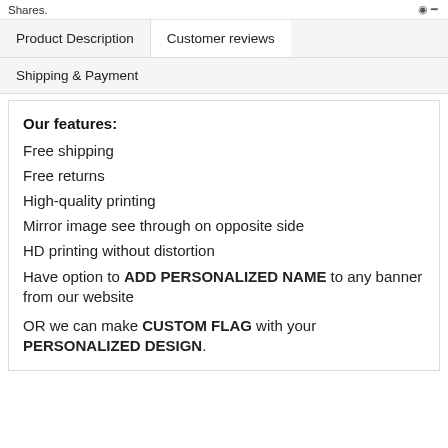Shares.
Product Description
Customer reviews
Shipping & Payment
Our features:
Free shipping
Free returns
High-quality printing
Mirror image see through on opposite side
HD printing without distortion
Have option to ADD PERSONALIZED NAME to any banner from our website
OR we can make CUSTOM FLAG with your PERSONALIZED DESIGN.